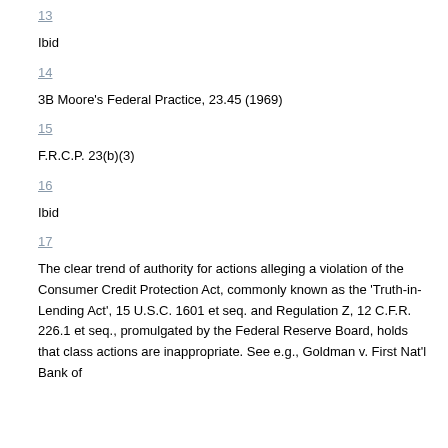13
Ibid
14
3B Moore's Federal Practice, 23.45 (1969)
15
F.R.C.P. 23(b)(3)
16
Ibid
17
The clear trend of authority for actions alleging a violation of the Consumer Credit Protection Act, commonly known as the 'Truth-in-Lending Act', 15 U.S.C. 1601 et seq. and Regulation Z, 12 C.F.R. 226.1 et seq., promulgated by the Federal Reserve Board, holds that class actions are inappropriate. See e.g., Goldman v. First Nat'l Bank of